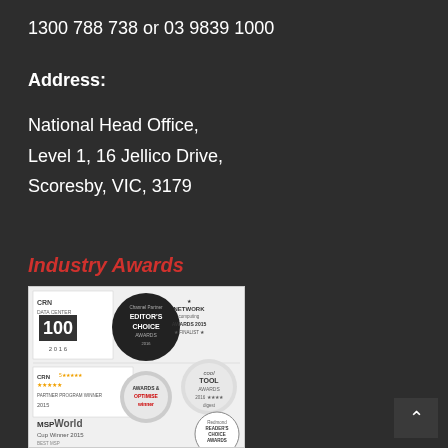1300 788 738 or 03 9839 1000
Address:
National Head Office,
Level 1, 16 Jellico Drive,
Scoresby, VIC, 3179
Industry Awards
[Figure (photo): Collage of industry award logos including CRN Data Center 100 2016, Channel Partner Editor's Choice Awards, Network Computing Awards 2015 Finalist, CRN 5-star Partner Program Winner 2015, Awards & Optimise Winner, Cool Tool Awards 2016 digest, MSPWorld Cup Winner 2015 Best MSP Solution, Redmond Reader's Choice Awards]